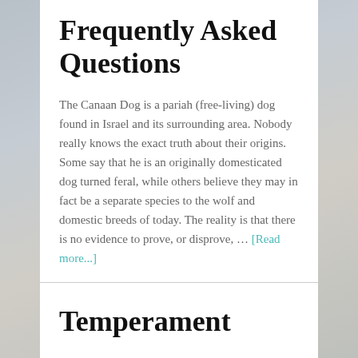Frequently Asked Questions
The Canaan Dog is a pariah (free-living) dog found in Israel and its surrounding area. Nobody really knows the exact truth about their origins. Some say that he is an originally domesticated dog turned feral, while others believe they may in fact be a separate species to the wolf and domestic breeds of today. The reality is that there is no evidence to prove, or disprove, … [Read more...]
Temperament